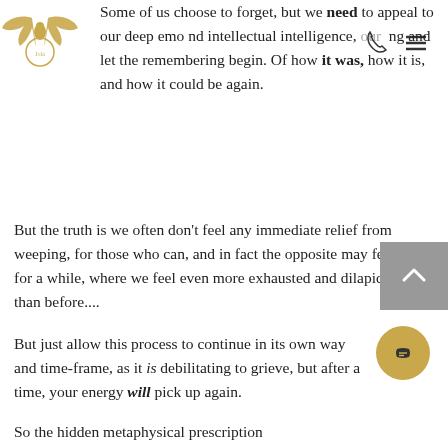[Figure (logo): Gold bird/wings logo with circular badge]
Some of us choose to forget, but we need to appeal to our deep emotional and intellectual intelligence, our feeling and let the remembering begin. Of how it was, how it is, and how it could be again.
But the truth is we often don't feel any immediate relief from weeping, for those who can, and in fact the opposite may feel true for a while, where we feel even more exhausted and dilapidated than before....
But just allow this process to continue in its own way and time-frame, as it is debilitating to grieve, but after a time, your energy will pick up again.
So the hidden metaphysical prescription